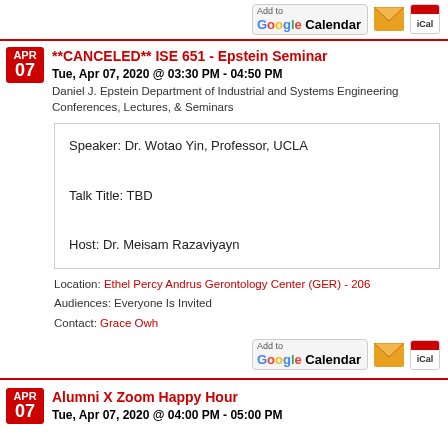[Figure (other): Add to Google Calendar, envelope icon, iCal icon buttons at top]
**CANCELED** ISE 651 - Epstein Seminar
Tue, Apr 07, 2020 @ 03:30 PM - 04:50 PM
Daniel J. Epstein Department of Industrial and Systems Engineering
Conferences, Lectures, & Seminars
Speaker: Dr. Wotao Yin, Professor, UCLA

Talk Title: TBD

Host: Dr. Meisam Razaviyayn
Location: Ethel Percy Andrus Gerontology Center (GER) - 206
Audiences: Everyone Is Invited
Contact: Grace Owh
[Figure (other): Add to Google Calendar, envelope icon, iCal icon buttons]
Alumni X Zoom Happy Hour
Tue, Apr 07, 2020 @ 04:00 PM - 05:00 PM